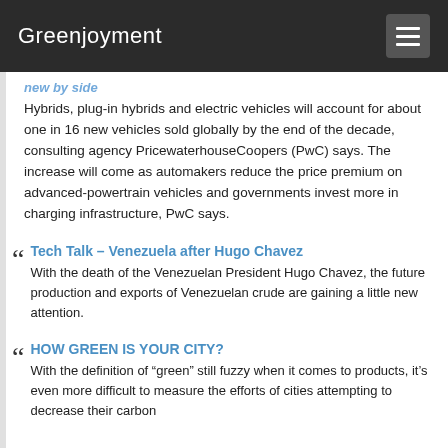Greenjoyment
Hybrids, plug-in hybrids and electric vehicles will account for about one in 16 new vehicles sold globally by the end of the decade, consulting agency PricewaterhouseCoopers (PwC) says. The increase will come as automakers reduce the price premium on advanced-powertrain vehicles and governments invest more in charging infrastructure, PwC says.
Tech Talk – Venezuela after Hugo Chavez
With the death of the Venezuelan President Hugo Chavez, the future production and exports of Venezuelan crude are gaining a little new attention.
HOW GREEN IS YOUR CITY?
With the definition of “green” still fuzzy when it comes to products, it’s even more difficult to measure the efforts of cities attempting to decrease their carbon